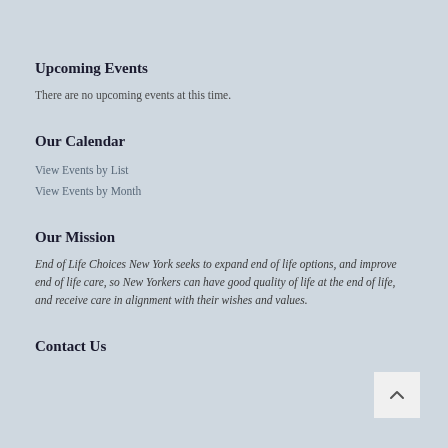Upcoming Events
There are no upcoming events at this time.
Our Calendar
View Events by List
View Events by Month
Our Mission
End of Life Choices New York seeks to expand end of life options, and improve end of life care, so New Yorkers can have good quality of life at the end of life, and receive care in alignment with their wishes and values.
Contact Us